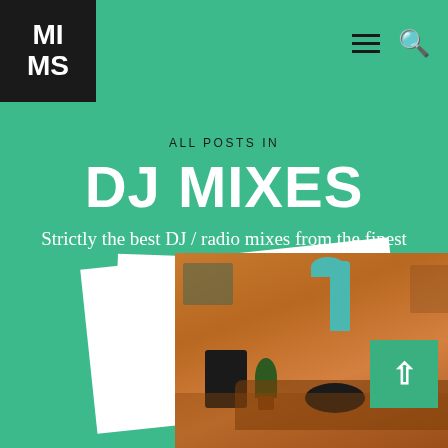[Figure (logo): MIMS logo — white letters MI and MS stacked on black square background]
Navigation header with MIMS logo, hamburger menu icon, and search icon on teal/green background
ALL POSTS IN
DJ MIXES
Strictly the best DJ / radio mixes from the finest music heads
[Figure (illustration): Illustrated retro living room scene with a teal lamp, speakers, plant, couch, and wall art on an orange/warm background, shown as album cover art with white frames behind it]